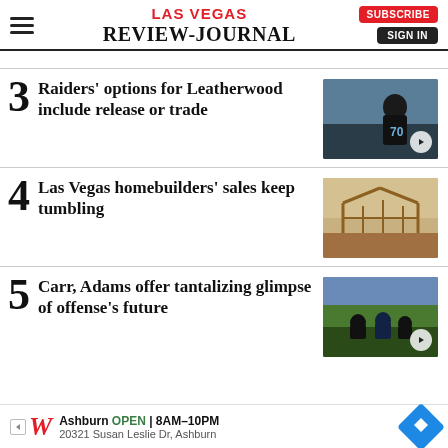LAS VEGAS REVIEW-JOURNAL
3 Raiders' options for Leatherwood include release or trade
[Figure (photo): Football player wearing jersey number 70 in black Raiders uniform]
4 Las Vegas homebuilders' sales keep tumbling
[Figure (photo): Construction site with wooden framing of a building under the sun]
5 Carr, Adams offer tantalizing glimpse of offense's future
[Figure (photo): Football game action shot with players from Raiders on the field]
Ashburn OPEN 8AM–10PM 20321 Susan Leslie Dr, Ashburn